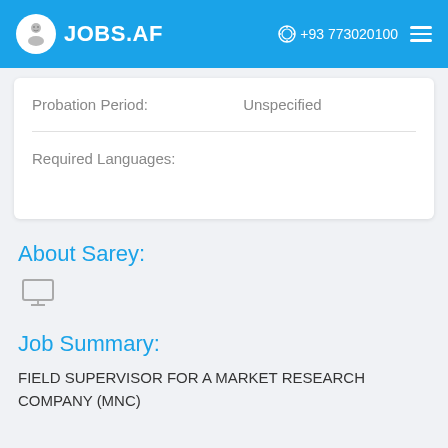JOBS.AF  +93 773020100
| Probation Period: | Unspecified |
| Required Languages: |  |
About Sarey:
[Figure (illustration): Monitor/screen icon]
Job Summary:
FIELD SUPERVISOR FOR A MARKET RESEARCH COMPANY (MNC)